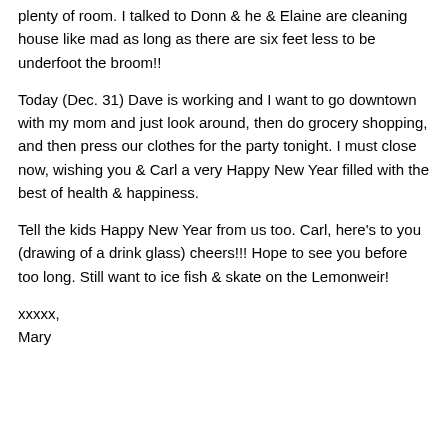plenty of room. I talked to Donn & he & Elaine are cleaning house like mad as long as there are six feet less to be underfoot the broom!!
Today (Dec. 31) Dave is working and I want to go downtown with my mom and just look around, then do grocery shopping, and then press our clothes for the party tonight. I must close now, wishing you & Carl a very Happy New Year filled with the best of health & happiness.
Tell the kids Happy New Year from us too. Carl, here's to you (drawing of a drink glass) cheers!!! Hope to see you before too long. Still want to ice fish & skate on the Lemonweir!
xxxxx,
Mary